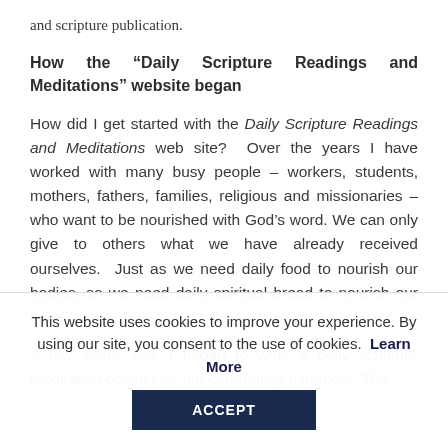and scripture publication.
How the “Daily Scripture Readings and Meditations” website began
How did I get started with the Daily Scripture Readings and Meditations web site?  Over the years I have worked with many busy people – workers, students, mothers, fathers, families, religious and missionaries – who want to be nourished with God’s word. We can only give to others what we have already received ourselves.  Just as we need daily food to nourish our bodies, so we need daily spiritual bread to nourish our souls.
A few years ago, I began to write a daily scripture meditation booklet for our community members. The
This website uses cookies to improve your experience. By using our site, you consent to the use of cookies.  Learn More
ACCEPT